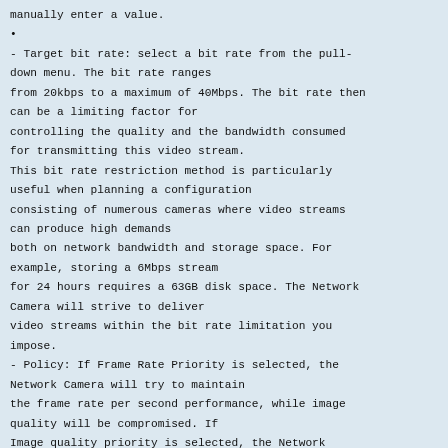manually enter a value.
•
- Target bit rate: select a bit rate from the pull-down menu. The bit rate ranges from 20kbps to a maximum of 40Mbps. The bit rate then can be a limiting factor for controlling the quality and the bandwidth consumed for transmitting this video stream.
This bit rate restriction method is particularly useful when planning a configuration consisting of numerous cameras where video streams can produce high demands both on network bandwidth and storage space. For example, storing a 6Mbps stream for 24 hours requires a 63GB disk space. The Network Camera will strive to deliver video streams within the bit rate limitation you impose.
- Policy: If Frame Rate Priority is selected, the Network Camera will try to maintain the frame rate per second performance, while image quality will be compromised. If Image quality priority is selected, the Network Camera may drop some video frames in order to maintain image quality.
Fixed quality: On the other hand, if Fixed quality is selected, all frames are transmitted with the same quality; bandwidth utilization is therefore unpredictable. If Fixed quality is selected, frame rate performance will be compromised.
- Quality: You can select the following quality options - Medium, Standard